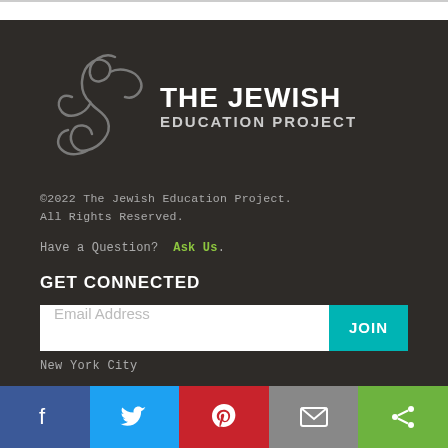[Figure (logo): The Jewish Education Project logo with stylized script graphic and bold text]
©2022 The Jewish Education Project. All Rights Reserved.
Have a Question?  Ask Us.
GET CONNECTED
Email Address  JOIN
New York City
[Figure (infographic): Social sharing bar with Facebook, Twitter, Pinterest, Email, and Share buttons]